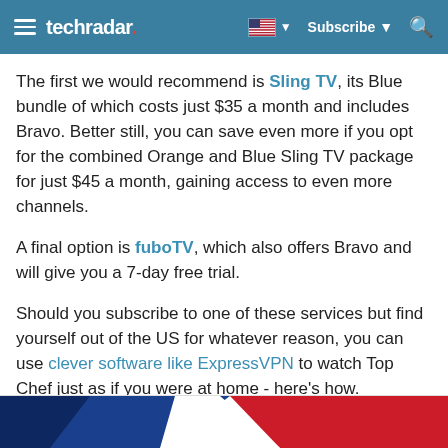techradar | Subscribe
The first we would recommend is Sling TV, its Blue bundle of which costs just $35 a month and includes Bravo. Better still, you can save even more if you opt for the combined Orange and Blue Sling TV package for just $45 a month, gaining access to even more channels.
A final option is fuboTV, which also offers Bravo and will give you a 7-day free trial.
Should you subscribe to one of these services but find yourself out of the US for whatever reason, you can use clever software like ExpressVPN to watch Top Chef just as if you were at home - here's how.
[Figure (illustration): Partial image at the bottom showing blue and red diagonal shapes, likely a flag or banner graphic]